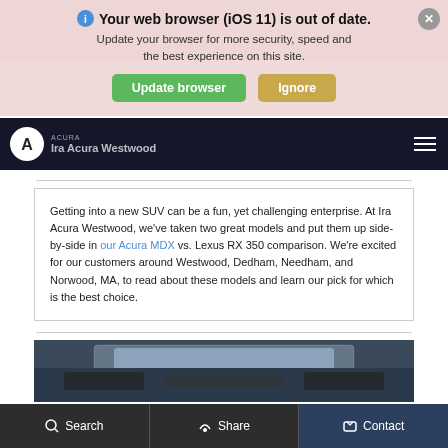[Figure (screenshot): Browser update warning overlay with pink/salmon background, showing 'Your web browser (iOS 11) is out of date. Update your browser for more security, speed and the best experience on this site.' with green 'Update browser' button and gold 'Ignore' button, close X button top right.]
We Want To Buy Your Car! Click Here To Start Your Appraisal.
[Figure (logo): Acura logo (circular A emblem) and dealership name 'Ira Acura Westwood' in dark navy navigation bar]
Getting into a new SUV can be a fun, yet challenging enterprise. At Ira Acura Westwood, we've taken two great models and put them up side-by-side in our Acura MDX vs. Lexus RX 350 comparison. We're excited for our customers around Westwood, Dedham, Needham, and Norwood, MA, to read about these models and learn our pick for which is the best choice.
[Figure (photo): Interior view of a car showing panoramic sunroof and dashboard from rear perspective]
Search   Share   Contact